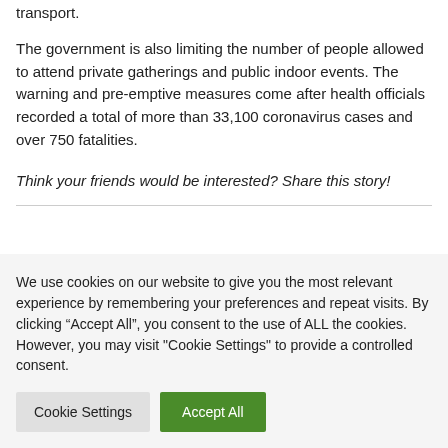transport.
The government is also limiting the number of people allowed to attend private gatherings and public indoor events. The warning and pre-emptive measures come after health officials recorded a total of more than 33,100 coronavirus cases and over 750 fatalities.
Think your friends would be interested? Share this story!
We use cookies on our website to give you the most relevant experience by remembering your preferences and repeat visits. By clicking “Accept All”, you consent to the use of ALL the cookies. However, you may visit "Cookie Settings" to provide a controlled consent.